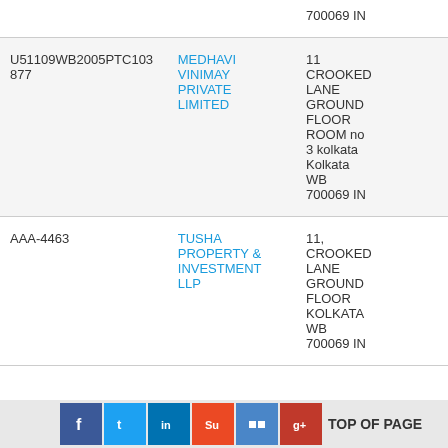| ID | Company Name | Address |
| --- | --- | --- |
| 700069 IN |  |  |
| U51109WB2005PTC103877 | MEDHAVI VINIMAY PRIVATE LIMITED | 11 CROOKED LANE GROUND FLOOR ROOM no 3 kolkata Kolkata WB 700069 IN |
| AAA-4463 | TUSHA PROPERTY & INVESTMENT LLP | 11, CROOKED LANE GROUND FLOOR KOLKATA WB 700069 IN |
TOP OF PAGE